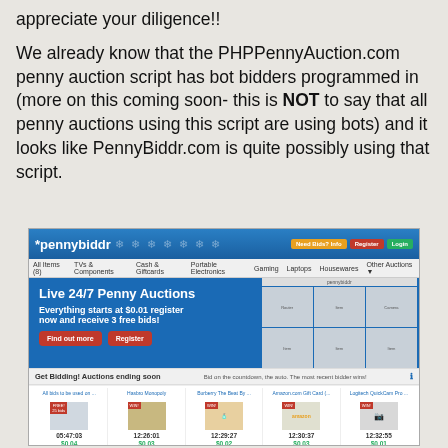appreciate your diligence!! We already know that the PHPPennyAuction.com penny auction script has bot bidders programmed in (more on this coming soon- this is NOT to say that all penny auctions using this script are using bots) and it looks like PennyBiddr.com is quite possibly using that script.
[Figure (screenshot): Screenshot of PennyBiddr.com website showing the homepage with a blue header, navigation bar, promotional banner reading 'Live 24/7 Penny Auctions - Everything starts at $0.01 register now and receive 3 free bids!' with Find out more and Register buttons, and an auctions grid showing items with countdown timers: 05:47:03 $0.04, 12:26:01 $0.03, 12:29:27 $0.02, 12:30:37 $0.03, 12:32:55 $0.01]